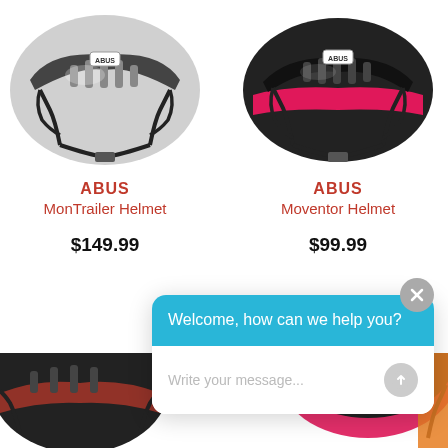[Figure (photo): ABUS MonTrailer bicycle helmet in silver/gray color]
ABUS
MonTrailer Helmet
$149.99
[Figure (photo): ABUS Moventor bicycle helmet in black/pink color]
ABUS
Moventor Helmet
$99.99
[Figure (screenshot): Live chat widget with header 'Welcome, how can we help you?' and text input 'Write your message...']
[Figure (photo): Partial bottom view of two more bicycle helmets]
Write your message...
Welcome, how can we help you?